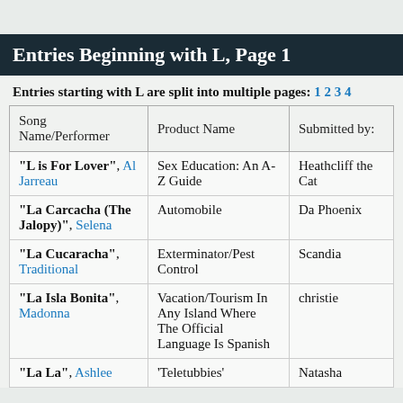Entries Beginning with L, Page 1
Entries starting with L are split into multiple pages: 1 2 3 4
| Song Name/Performer | Product Name | Submitted by: |
| --- | --- | --- |
| "L is For Lover", Al Jarreau | Sex Education: An A-Z Guide | Heathcliff the Cat |
| "La Carcacha (The Jalopy)", Selena | Automobile | Da Phoenix |
| "La Cucaracha", Traditional | Exterminator/Pest Control | Scandia |
| "La Isla Bonita", Madonna | Vacation/Tourism In Any Island Where The Official Language Is Spanish | christie |
| "La La", Ashlee | 'Teletubbies' | Natasha |